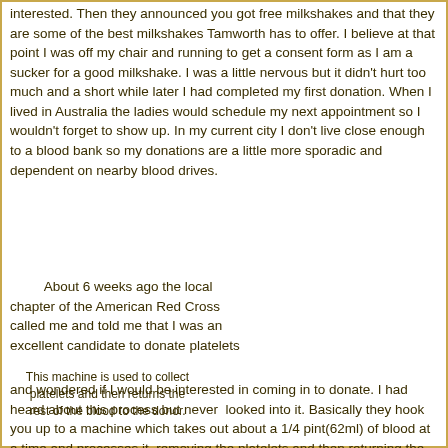interested. Then they announced you got free milkshakes and that they are some of the best milkshakes Tamworth has to offer. I believe at that point I was off my chair and running to get a consent form as I am a sucker for a good milkshake. I was a little nervous but it didn't hurt too much and a short while later I had completed my first donation. When I lived in Australia the ladies would schedule my next appointment so I wouldn't forget to show up. In my current city I don't live close enough to a blood bank so my donations are a little more sporadic and dependent on nearby blood drives.
About 6 weeks ago the local chapter of the American Red Cross called me and told me that I was an excellent candidate to donate platelets and wondered if I would be interested in coming in to donate. I had heard about this process but never looked into it. Basically they hook you up to a machine which takes out about a 1/4 pint(62ml) of blood at a time and processes it, removing the platelets and then returning the rest of the blood along with some saline solution to you before
This machine is used to collect platelets and then returns the rest of the blood to the donor.